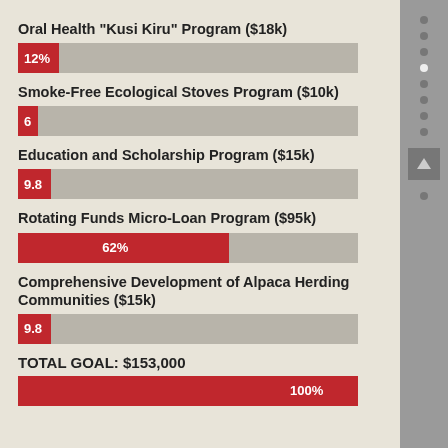Oral Health "Kusi Kiru" Program ($18k)
[Figure (bar-chart): Program funding progress]
Smoke-Free Ecological Stoves Program ($10k)
[Figure (bar-chart): Program funding progress]
Education and Scholarship Program ($15k)
[Figure (bar-chart): Program funding progress]
Rotating Funds Micro-Loan Program ($95k)
[Figure (bar-chart): Program funding progress]
Comprehensive Development of Alpaca Herding Communities ($15k)
[Figure (bar-chart): Program funding progress]
TOTAL GOAL: $153,000
[Figure (bar-chart): Total goal progress]